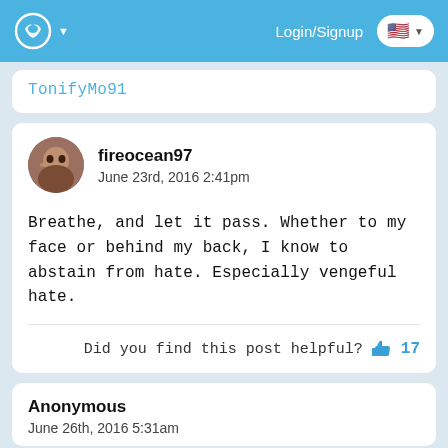Login/Signup
TonifyMo91
fireocean97
June 23rd, 2016 2:41pm

Breathe, and let it pass. Whether to my face or behind my back, I know to abstain from hate. Especially vengeful hate.
Did you find this post helpful?  17
Anonymous
June 26th, 2016 5:31am